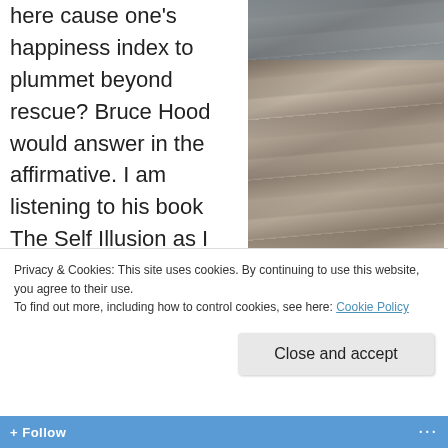here cause one's happiness index to plummet beyond rescue?  Bruce Hood would answer in the affirmative.  I am listening to his book The Self Illusion as I walk to and from work each
[Figure (photo): A photo of crumbling, hazardous concrete steps leading to a public square, with people visible at the top.]
The crumbling, hazardous steps leading to a public square
Privacy & Cookies: This site uses cookies. By continuing to use this website, you agree to their use.
To find out more, including how to control cookies, see here: Cookie Policy